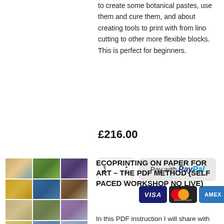to create some botanical pastes, use them and cure them, and about creating tools to print with from lino cutting to other more flexible blocks. This is perfect for beginners.
£216.00
[Figure (screenshot): Quantity selector showing '1' with up/down arrows]
[Figure (screenshot): Pay with PayPal button (light grey, rounded)]
[Figure (screenshot): Payment card icons: VISA, Mastercard, AMEX, DISCOVER]
[Figure (photo): Product thumbnail: 3x4 grid of colorful ecoprinting art images]
ECOPRINTING ON PAPER FOR ART – THE PDF METHOD (SELF PACED WORKSHOP NO LIVE)
In this PDF instruction I will share with you my technique developed over